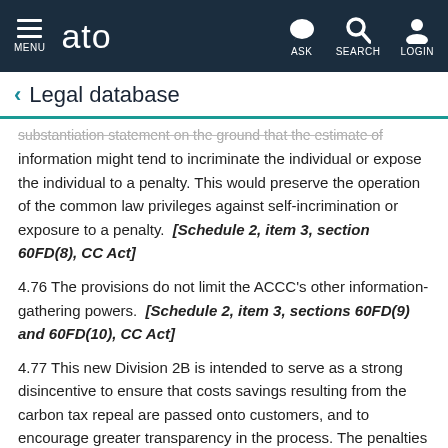ato — MENU | ASK | SEARCH | LOGIN
Legal database
substantiation statement on the ground that the estimate of information might tend to incriminate the individual or expose the individual to a penalty. This would preserve the operation of the common law privileges against self-incrimination or exposure to a penalty. [Schedule 2, item 3, section 60FD(8), CC Act]
4.76 The provisions do not limit the ACCC's other information-gathering powers. [Schedule 2, item 3, sections 60FD(9) and 60FD(10), CC Act]
4.77 This new Division 2B is intended to serve as a strong disincentive to ensure that costs savings resulting from the carbon tax repeal are passed onto customers, and to encourage greater transparency in the process. The penalties under this Division are significant ones, and reflect the strength of the Parliament's commitment to ensure that